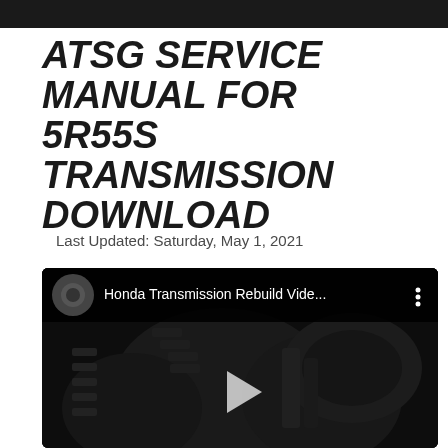ATSG SERVICE MANUAL FOR 5R55S TRANSMISSION DOWNLOAD
Last Updated: Saturday, May 1, 2021
[Figure (screenshot): Embedded YouTube video player showing a Honda Transmission Rebuild video. Dark background with gear/transmission imagery visible. Video title bar at top reads 'Honda Transmission Rebuild Vide...' with a circular thumbnail and three-dot menu. A play button triangle is centered on the video frame.]